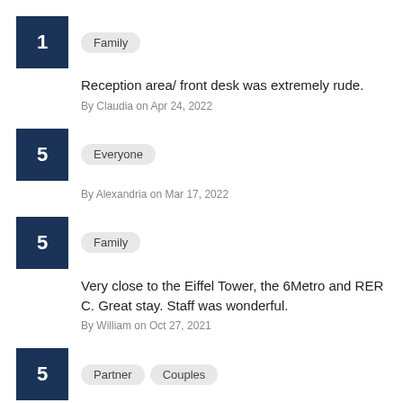Score: 1, Tag: Family
Reception area/ front desk was extremely rude.
By Claudia on Apr 24, 2022
Score: 5, Tag: Everyone
By Alexandria on Mar 17, 2022
Score: 5, Tag: Family
Very close to the Eiffel Tower, the 6Metro and RER C. Great stay. Staff was wonderful.
By William on Oct 27, 2021
Score: 5, Tags: Partner, Couples
Great. Location is everything. Thank u miguel for taking good care of us while checking in.
By Luddimila on Oct 10, 2021